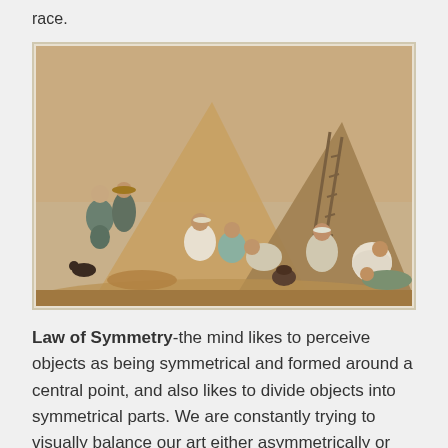race.
[Figure (illustration): A classical painting depicting a group of peasant workers resting and laboring in a field, with large haystacks in the background and a ladder leaning against one of them. Multiple figures are shown in various poses, some sitting, some standing.]
Law of Symmetry-the mind likes to perceive objects as being symmetrical and formed around a central point, and also likes to divide objects into symmetrical parts. We are constantly trying to visually balance our art either asymmetrically or